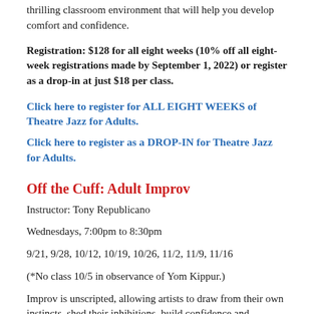thrilling classroom environment that will help you develop comfort and confidence.
Registration: $128 for all eight weeks (10% off all eight-week registrations made by September 1, 2022) or register as a drop-in at just $18 per class.
Click here to register for ALL EIGHT WEEKS of Theatre Jazz for Adults.
Click here to register as a DROP-IN for Theatre Jazz for Adults.
Off the Cuff: Adult Improv
Instructor: Tony Republicano
Wednesdays, 7:00pm to 8:30pm
9/21, 9/28, 10/12, 10/19, 10/26, 11/2, 11/9, 11/16
(*No class 10/5 in observance of Yom Kippur.)
Improv is unscripted, allowing artists to draw from their own instincts, shed their inhibitions, build confidence and